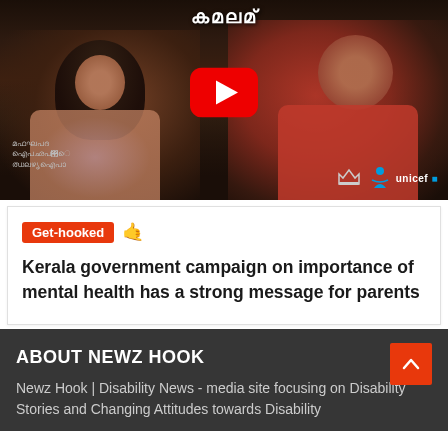[Figure (screenshot): YouTube video thumbnail showing two people (a woman with curly hair and a man in red shirt) sitting together, with a YouTube play button in the center and Malayalam text at the top. UNICEF logo and other logos visible at the bottom of the thumbnail.]
Get-hooked 🤙
Kerala government campaign on importance of mental health has a strong message for parents
ABOUT NEWZ HOOK
Newz Hook | Disability News - media site focusing on Disability Stories and Changing Attitudes towards Disability